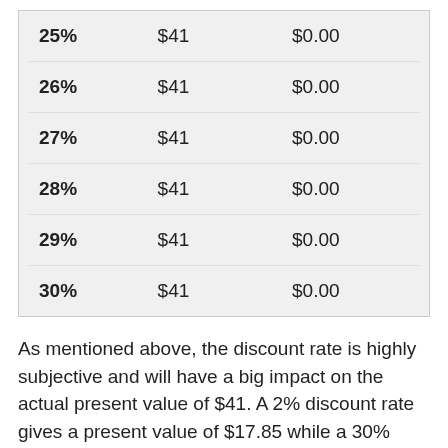| 25% | $41 | $0.00 |
| 26% | $41 | $0.00 |
| 27% | $41 | $0.00 |
| 28% | $41 | $0.00 |
| 29% | $41 | $0.00 |
| 30% | $41 | $0.00 |
As mentioned above, the discount rate is highly subjective and will have a big impact on the actual present value of $41. A 2% discount rate gives a present value of $17.85 while a 30% discount rate would mean a $0.00 present value.
The rate you choose should be somewhat